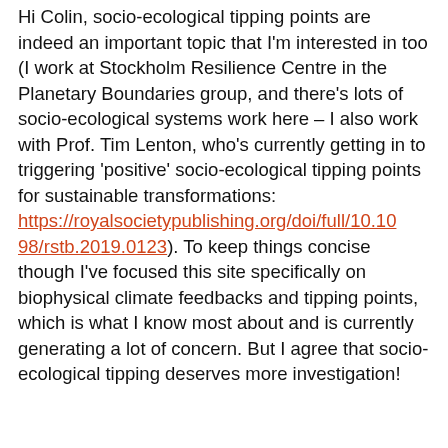Hi Colin, socio-ecological tipping points are indeed an important topic that I'm interested in too (I work at Stockholm Resilience Centre in the Planetary Boundaries group, and there's lots of socio-ecological systems work here – I also work with Prof. Tim Lenton, who's currently getting in to triggering 'positive' socio-ecological tipping points for sustainable transformations: https://royalsocietypublishing.org/doi/full/10.1098/rstb.2019.0123). To keep things concise though I've focused this site specifically on biophysical climate feedbacks and tipping points, which is what I know most about and is currently generating a lot of concern. But I agree that socio-ecological tipping deserves more investigation!